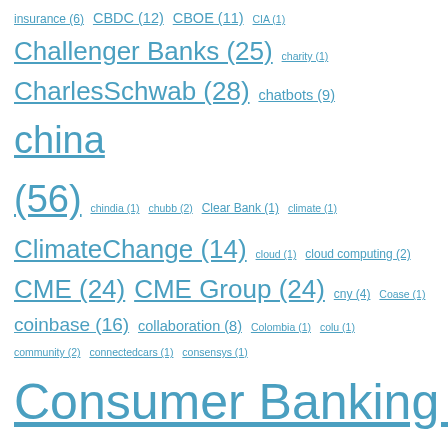insurance (6) CBDC (12) CBOE (11) CIA (1) Challenger Banks (25) charity (1) CharlesSchwab (28) chatbots (9) china (56) chindia (1) chubb (2) Clear Bank (1) climate (1) ClimateChange (14) cloud (1) cloud computing (2) CME (24) CME Group (24) cny (4) Coase (1) coinbase (16) collaboration (8) Colombia (1) colu (1) community (2) connectedcars (1) consensys (1) Consumer Banking (235) consumer credit (1) copy trading (10) corda (1) core banking (3) CornerstoneAdvisors (1) Coronavirus (4) CorporateBanking (3) corporate vc (2) crash (2) creative economy (1) credit card fraud (1) credit cards (11) CreditEnhancementInsurance (1) credit karma (1) credit markets (7) credit scoring (3) crm (2) cross-border (22) Crowdfunding (16) crowdsourcing (1) Crypto (35) cryptoassets (1) cryptocurrencies (645)